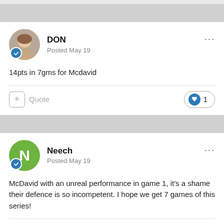DON
Posted May 19
14pts in 7gms for Mcdavid
Quote  1
Neech
Posted May 19
McDavid with an unreal performance in game 1, it's a shame their defence is so incompetent. I hope we get 7 games of this series!
Quote